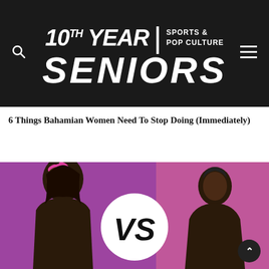[Figure (logo): 10th Year Seniors Sports & Pop Culture logo — large bold white italic text on dark background]
6 Things Bahamian Women Need To Stop Doing (Immediately)
[Figure (photo): Two women facing each other with a VS circle logo in the center, purple and pink background]